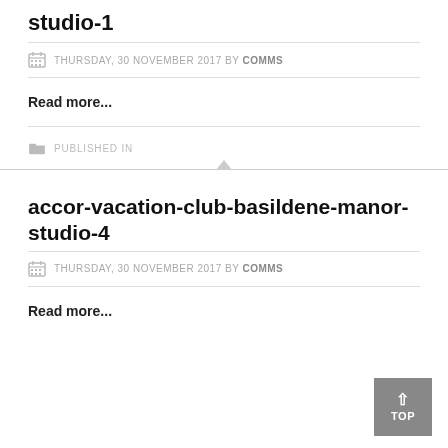studio-1
THURSDAY, 30 NOVEMBER 2017 BY COMMS
Read more...
PUBLISHED IN
accor-vacation-club-basildene-manor-studio-4
THURSDAY, 30 NOVEMBER 2017 BY COMMS
Read more...